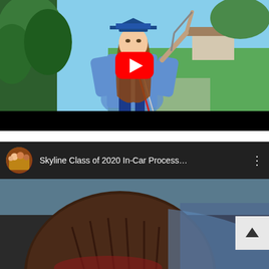[Figure (screenshot): YouTube video embed showing a female graduate in blue cap and gown outdoors on a lawn with greenery. A red YouTube play button is overlaid in the center. The bottom of the video has a black bar.]
[Figure (screenshot): Second YouTube video embed with dark info bar showing channel avatar, title 'Skyline Class of 2020 In-Car Process...' with three-dot menu icon. Below is a thumbnail showing a person in graduation attire. A scroll/expand button is visible in the upper right of the thumbnail.]